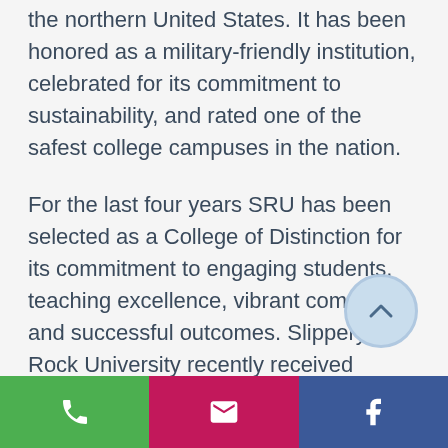the northern United States. It has been honored as a military-friendly institution, celebrated for its commitment to sustainability, and rated one of the safest college campuses in the nation.
For the last four years SRU has been selected as a College of Distinction for its commitment to engaging students, teaching excellence, vibrant community, and successful outcomes. Slippery Rock University recently received national recognition when it was ranked as one of the 15 universities in the country by the Education Trust for having shown vast
[Figure (other): Circular scroll-up button with upward chevron arrow, light blue background]
[Figure (infographic): Bottom navigation bar with three buttons: green phone icon, pink/magenta email icon, dark blue Facebook icon]